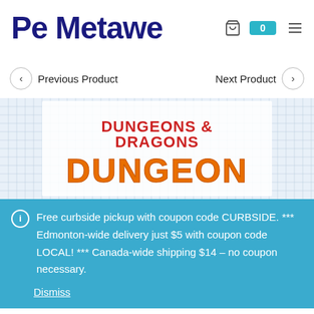Pe Metawe
< Previous Product    Next Product >
[Figure (photo): Dungeons & Dragons Dungeon game product image with grid paper background and colorful logo text]
ⓘ Free curbside pickup with coupon code CURBSIDE. *** Edmonton-wide delivery just $5 with coupon code LOCAL! *** Canada-wide shipping $14 – no coupon necessary.
Dismiss